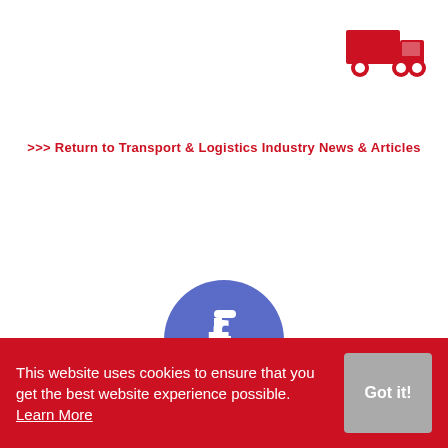[Figure (logo): Red delivery truck icon in top right corner]
>>> Return to Transport & Logistics Industry News & Articles
[Figure (logo): Facebook logo - blue circle with white lowercase f]
This website uses cookies to ensure that you get the best website experience possible. Learn More
Got it!